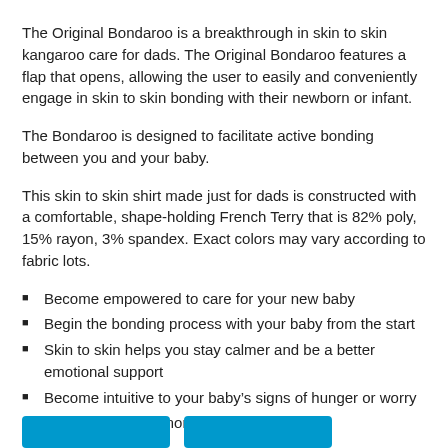The Original Bondaroo is a breakthrough in skin to skin kangaroo care for dads. The Original Bondaroo features a flap that opens, allowing the user to easily and conveniently engage in skin to skin bonding with their newborn or infant.
The Bondaroo is designed to facilitate active bonding between you and your baby.
This skin to skin shirt made just for dads is constructed with a comfortable, shape-holding French Terry that is 82% poly, 15% rayon, 3% spandex. Exact colors may vary according to fabric lots.
Become empowered to care for your new baby
Begin the bonding process with your baby from the start
Skin to skin helps you stay calmer and be a better emotional support
Become intuitive to your baby's signs of hunger or worry
Can help you get more and better sleep